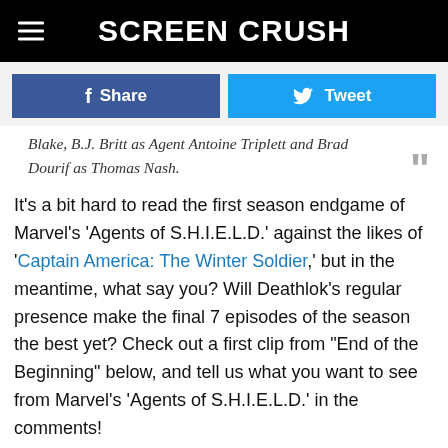SCREEN CRUSH
Share  Tweet
Blake, B.J. Britt as Agent Antoine Triplett and Brad Dourif as Thomas Nash.
It's a bit hard to read the first season endgame of Marvel's 'Agents of S.H.I.E.L.D.' against the likes of 'Captain America: The Winter Soldier,' but in the meantime, what say you? Will Deathlok's regular presence make the final 7 episodes of the season the best yet? Check out a first clip from "End of the Beginning" below, and tell us what you want to see from Marvel's 'Agents of S.H.I.E.L.D.' in the comments!
Filed Under: ABC, Agents of S.H.I.E.L.D., Bill Paxton, J. August Richards, Marvel